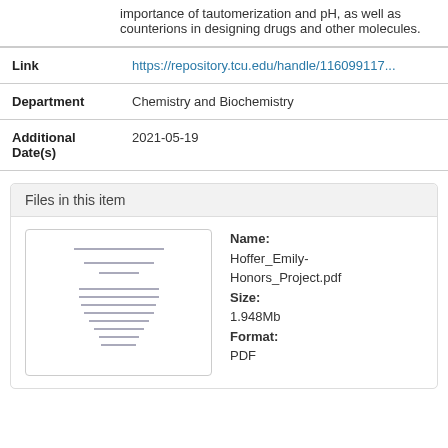importance of tautomerization and pH, as well as counterions in designing drugs and other molecules.
| Field | Value |
| --- | --- |
| Link | https://repository.tcu.edu/handle/116099117... |
| Department | Chemistry and Biochemistry |
| Additional Date(s) | 2021-05-19 |
Files in this item
[Figure (other): Thumbnail image of the PDF document Hoffer_Emily-Honors_Project.pdf]
Name: Hoffer_Emily-Honors_Project.pdf Size: 1.948Mb Format: PDF